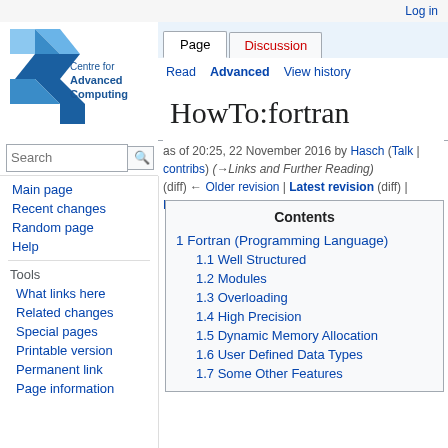Log in
[Figure (logo): Centre for Advanced Computing logo with blue star/arrow shapes]
Page | Discussion
Read | Advanced | View history
HowTo:fortran
Search
as of 20:25, 22 November 2016 by Hasch (Talk | contribs) (→Links and Further Reading)
(diff) ← Older revision | Latest revision (diff) | Newer revision → (diff)
Main page
Recent changes
Random page
Help
Tools
What links here
Related changes
Special pages
Printable version
Permanent link
Page information
| Contents |
| --- |
| 1 Fortran (Programming Language) |
| 1.1 Well Structured |
| 1.2 Modules |
| 1.3 Overloading |
| 1.4 High Precision |
| 1.5 Dynamic Memory Allocation |
| 1.6 User Defined Data Types |
| 1.7 Some Other Features |